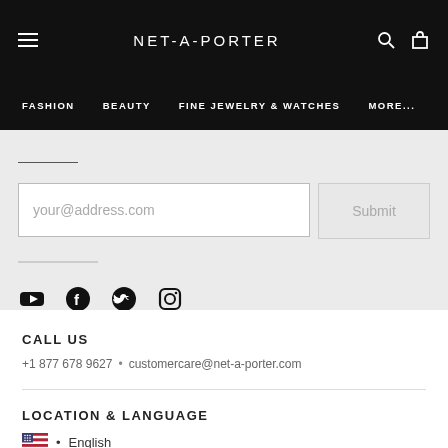NET-A-PORTER
FASHION  BEAUTY  FINE JEWELRY & WATCHES  MORE...
[Figure (screenshot): Email subscription input field with placeholder 'your@address.com' and a Submit button]
[Figure (infographic): Social media icons: YouTube, Facebook, Twitter, Instagram]
CALL US
+1 877 678 9627 • customercare@net-a-porter.com
LOCATION & LANGUAGE
• English